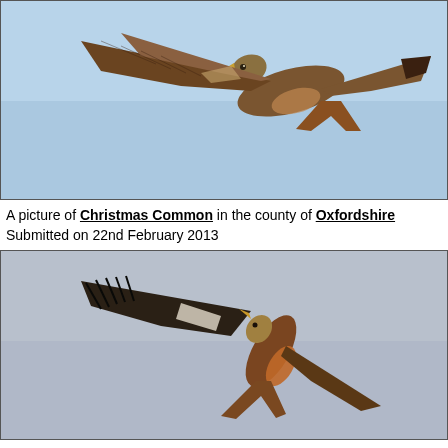[Figure (photo): Red kite bird in flight against a light blue sky, wings spread, viewed from below/side, showing brown and rust plumage with pale wing patches]
A picture of Christmas Common in the county of Oxfordshire
Submitted on 22nd February 2013
[Figure (photo): Red kite bird in flight against a grey sky, diving or banking, showing dark brown and russet plumage with white wing patches and forked tail]